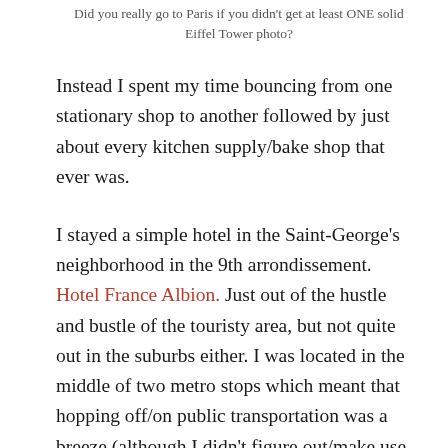Did you really go to Paris if you didn't get at least ONE solid Eiffel Tower photo?
Instead I spent my time bouncing from one stationary shop to another followed by just about every kitchen supply/bake shop that ever was.
I stayed a simple hotel in the Saint-George's neighborhood in the 9th arrondissement. Hotel France Albion. Just out of the hustle and bustle of the touristy area, but not quite out in the suburbs either. I was located in the middle of two metro stops which meant that hopping off/on public transportation was a breeze (although I didn't figure out/make use of the bus system until my last full day and that would've made it even easier). The room was very small, but comfortable and